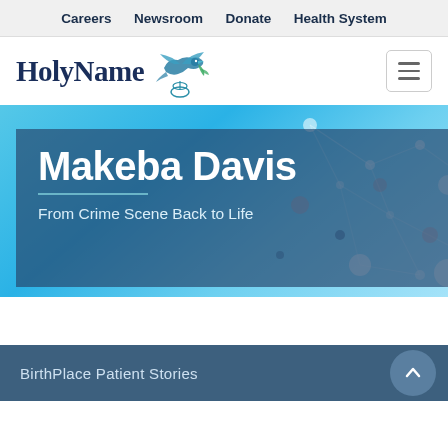Careers  Newsroom  Donate  Health System
[Figure (logo): Holy Name hospital logo with dove and DNA strand graphic, dark blue serif text 'HolyName']
[Figure (screenshot): Hero banner with light blue gradient background and molecular network dot overlay. Contains a semi-transparent dark blue box with large white bold text 'Makeba Davis', a teal horizontal divider, and subtitle text 'From Crime Scene Back to Life']
Makeba Davis
From Crime Scene Back to Life
BirthPlace Patient Stories